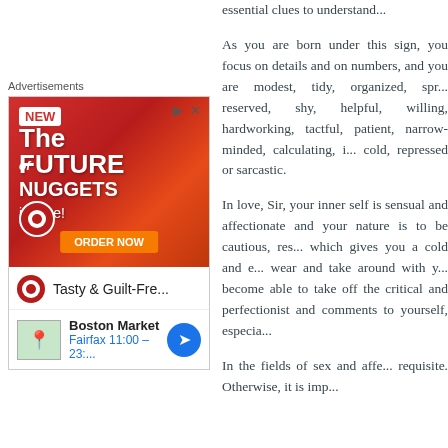essential clues to understand...
[Figure (screenshot): Advertisement for Boston Market Future Nuggets with an ad image showing nuggets on a red background, with store info for Boston Market in Fairfax.]
As you are born under this sign, you focus on details and on numbers, and you are modest, tidy, organized, sprintf reserved, shy, helpful, willing, hardworking, tactful, patient, narrow-minded, calculating, cold, repressed or sarcastic.
In love, Sir, your inner self is sensual and affectionate and your nature is to be cautious, reserved, which gives you a cold and exterior wear and take around with you become able to take off the critical and perfectionist and comments to yourself, especially
In the fields of sex and affection requisite. Otherwise, it is impossible